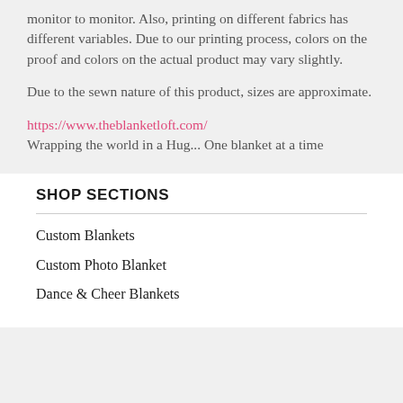monitor to monitor. Also, printing on different fabrics has different variables. Due to our printing process, colors on the proof and colors on the actual product may vary slightly.
Due to the sewn nature of this product, sizes are approximate.
https://www.theblanketloft.com/
Wrapping the world in a Hug... One blanket at a time
SHOP SECTIONS
Custom Blankets
Custom Photo Blanket
Dance & Cheer Blankets